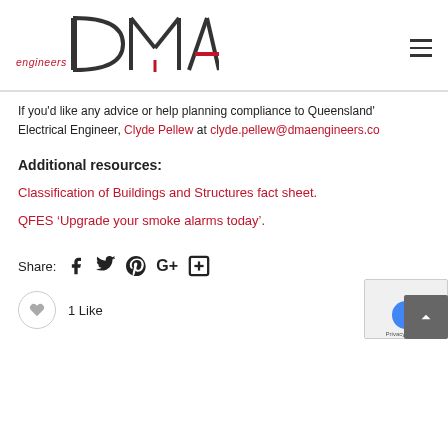engineers DMA [logo]
If you'd like any advice or help planning compliance to Queensland's Electrical Engineer, Clyde Pellew at clyde.pellew@dmaengineers.c...
Additional resources:
Classification of Buildings and Structures fact sheet.
QFES ‘Upgrade your smoke alarms today’.
Share: [Facebook] [Twitter] [Pinterest] [Google+] [More]
1 Like